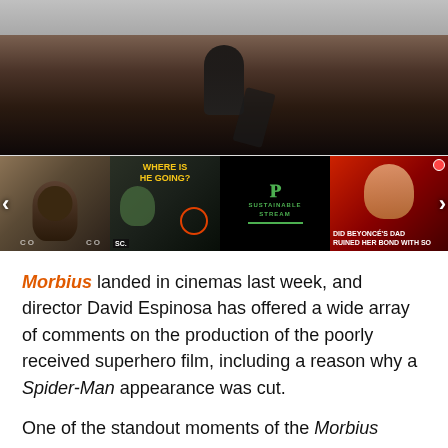[Figure (photo): Main hero image showing a bearded man speaking into a microphone at what appears to be a comic convention panel, top portion blurred/cropped]
[Figure (photo): Row of four video thumbnails: 1) Man at comic con panel, 2) She-Hulk 'WHERE IS HE GOING?' thumbnail, 3) Sustainable Stream logo on black background, 4) Beyonce's dad article thumbnail with red overlay]
Morbius landed in cinemas last week, and director David Espinosa has offered a wide array of comments on the production of the poorly received superhero film, including a reason why a Spider-Man appearance was cut.
One of the standout moments of the Morbius marketing campaign were the trailers and stills referencing characters like Michael Keaton's Vulture